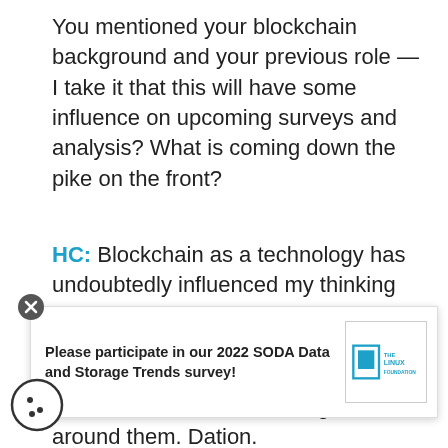You mentioned your blockchain background and your previous role — I take it that this will have some influence on upcoming surveys and analysis? What is coming down the pike on the front?
HC: Blockchain as a technology has undoubtedly influenced my thinking about systems architecture and how research is conducted — both technological frameworks and the human communities that organize around them. D...ation. Transparency....s are all issues that have been front and center